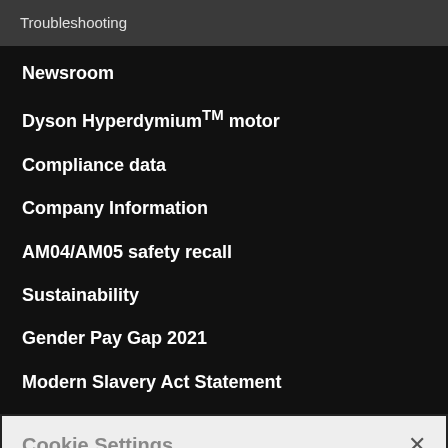Troubleshooting
Newsroom
Dyson Hyperdymium™ motor
Compliance data
Company Information
AM04/AM05 safety recall
Sustainability
Gender Pay Gap 2021
Modern Slavery Act Statement
Cookie Settings
Dyson websites use cookies. By continuing to use our websites, you accept that cookies may be stored on your device, as outlined in our Cookie Policy